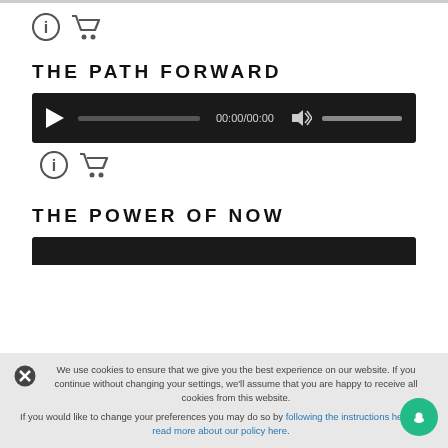[Figure (infographic): Info icon (circle with i) and shopping cart icon]
THE PATH FORWARD
[Figure (screenshot): Audio player with play button, progress bar showing 00:00/00:00, volume icon and volume slider on dark background]
[Figure (infographic): Info icon (circle with i) and shopping cart icon]
THE POWER OF NOW
[Figure (screenshot): Partial audio player on dark background, partially hidden by cookie consent bar]
We use cookies to ensure that we give you the best experience on our website. If you continue without changing your settings, we'll assume that you are happy to receive all cookies from this website.
If you would like to change your preferences you may do so by following the instructions here or read more about our policy here.